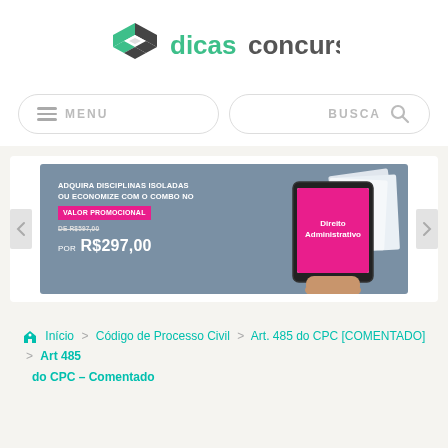[Figure (logo): Dicas Concursos logo with geometric hexagonal icon in dark/green and text 'dicas concursos']
[Figure (screenshot): Navigation bar with MENU and BUSCA (search) buttons styled as rounded pill buttons]
[Figure (infographic): Promotional banner carousel showing 'ADQUIRA DISCIPLINAS ISOLADAS OU ECONOMIZE COM O COMBO NO VALOR PROMOCIONAL de R$597,00 por R$297,00' with tablet showing Direito Administrativo book]
Início > Código de Processo Civil > Art. 485 do CPC [COMENTADO] > Art 485 do CPC – Comentado